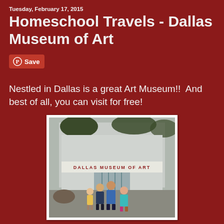Tuesday, February 17, 2015
Homeschool Travels - Dallas Museum of Art
[Figure (other): Pinterest Save button with circle-P icon]
Nestled in Dallas is a great Art Museum!!  And best of all, you can visit for free!
[Figure (photo): Four children standing in front of the Dallas Museum of Art building entrance, with the museum sign visible behind them. The children are wearing winter coats and jackets.]